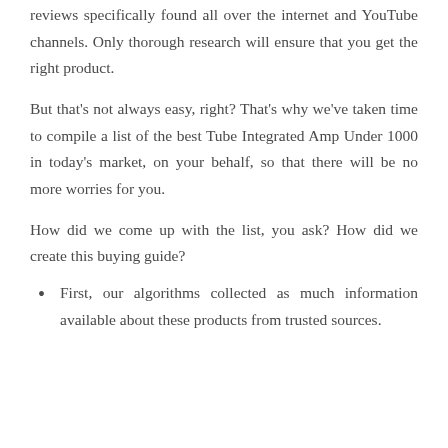reviews specifically found all over the internet and YouTube channels. Only thorough research will ensure that you get the right product.
But that's not always easy, right? That's why we've taken time to compile a list of the best Tube Integrated Amp Under 1000 in today's market, on your behalf, so that there will be no more worries for you.
How did we come up with the list, you ask? How did we create this buying guide?
First, our algorithms collected as much information available about these products from trusted sources.